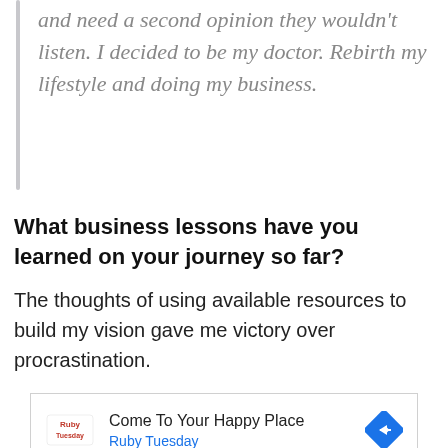and need a second opinion they wouldn't listen. I decided to be my doctor. Rebirth my lifestyle and doing my business.
What business lessons have you learned on your journey so far?
The thoughts of using available resources to build my vision gave me victory over procrastination.
[Figure (other): Advertisement for Ruby Tuesday restaurant. Shows logo, headline 'Come To Your Happy Place', subtext 'Ruby Tuesday', a blue diamond-shaped arrow icon, play button and close button controls.]